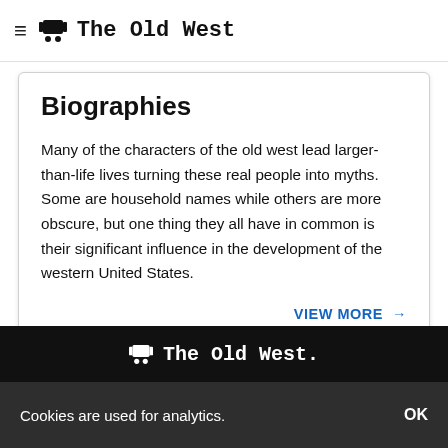The Old West
Biographies
Many of the characters of the old west lead larger-than-life lives turning these real people into myths. Some are household names while others are more obscure, but one thing they all have in common is their significant influence in the development of the western United States.
VIEW MORE →
The Old West.
Cookies are used for analytics.
OK